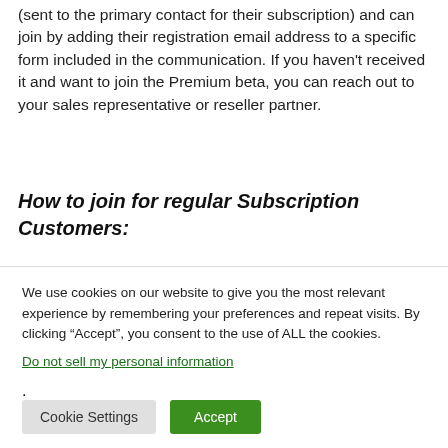(sent to the primary contact for their subscription) and can join by adding their registration email address to a specific form included in the communication. If you haven't received it and want to join the Premium beta, you can reach out to your sales representative or reseller partner.
How to join for regular Subscription Customers:
We have also sent an email to all subscription customers, indigent them to participate in the regular beta. In case you
We use cookies on our website to give you the most relevant experience by remembering your preferences and repeat visits. By clicking “Accept”, you consent to the use of ALL the cookies.
Do not sell my personal information.
Cookie Settings  Accept